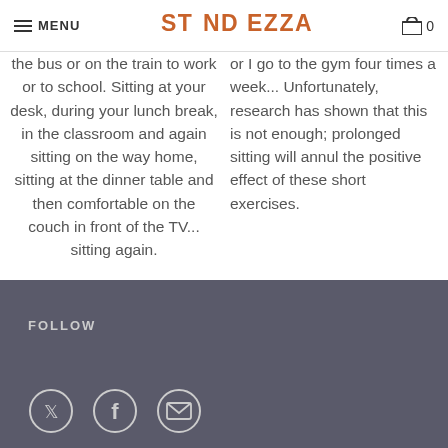MENU | STANDEZZA | 0
the bus or on the train to work or to school. Sitting at your desk, during your lunch break, in the classroom and again sitting on the way home, sitting at the dinner table and then comfortable on the couch in front of the TV... sitting again.
or I go to the gym four times a week... Unfortunately, research has shown that this is not enough; prolonged sitting will annul the positive effect of these short exercises.
FOLLOW
[Figure (illustration): Three social media icons in white circles on dark background: Twitter bird, Facebook f, Envelope/email]